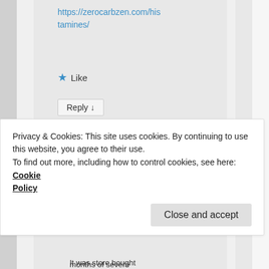https://zerocarbzen.com/histamines/
★ Like
Reply ↓
Rob on July 16, 2018 at 1:03 PM said:
It was store bought
months of severe
Privacy & Cookies: This site uses cookies. By continuing to use this website, you agree to their use.
To find out more, including how to control cookies, see here: Cookie Policy
Close and accept